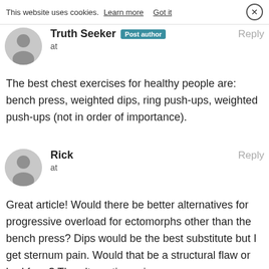This website uses cookies. Learn more  Got it  ×
Truth Seeker  Post author  Reply
at

The best chest exercises for healthy people are: bench press, weighted dips, ring push-ups, weighted push-ups (not in order of importance).
Rick  Reply
at

Great article! Would there be better alternatives for progressive overload for ectomorphs other than the bench press? Dips would be the best substitute but I get sternum pain. Would that be a structural flaw or bad form? The alternatives given…